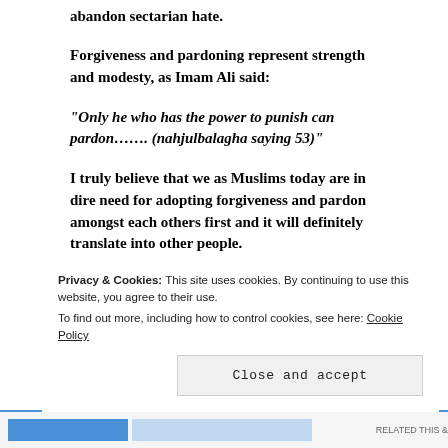abandon sectarian hate.
Forgiveness and pardoning represent strength and modesty, as Imam Ali said:
“Only he who has the power to punish can pardon……. (nahjulbalagha saying 53)”
I truly believe that we as Muslims today are in dire need for adopting forgiveness and pardon amongst each others first and it will definitely translate into other people.
Privacy & Cookies: This site uses cookies. By continuing to use this website, you agree to their use.
To find out more, including how to control cookies, see here: Cookie Policy
Close and accept